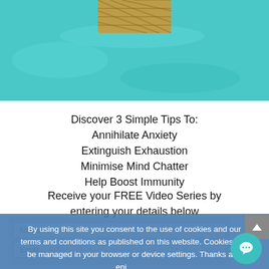[Figure (photo): Partial view of a person in a hammock over turquoise water, cropped to show the bottom of the hammock and water background]
Discover 3 Simple Tips To:
Annihilate Anxiety
Extinguish Exhaustion
Minimise Mind Chatter
Help Boost Immunity
Receive your FREE Video Series by entering your details below
[Figure (screenshot): Cookie consent banner overlay in blue, reading: By using this site you consent to the use of cookies and our terms and conditions as published on this website. Cookies can be managed in your browser or device settings. Thanks and enjoy your visit to our website! With I Agree and Read more links, and a chat bubble icon bottom right.]